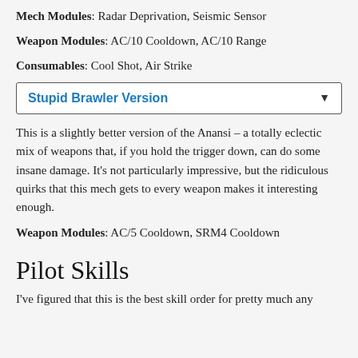Mech Modules: Radar Deprivation, Seismic Sensor
Weapon Modules: AC/10 Cooldown, AC/10 Range
Consumables: Cool Shot, Air Strike
Stupid Brawler Version
This is a slightly better version of the Anansi – a totally eclectic mix of weapons that, if you hold the trigger down, can do some insane damage. It's not particularly impressive, but the ridiculous quirks that this mech gets to every weapon makes it interesting enough.
Weapon Modules: AC/5 Cooldown, SRM4 Cooldown
Pilot Skills
I've figured that this is the best skill order for pretty much any